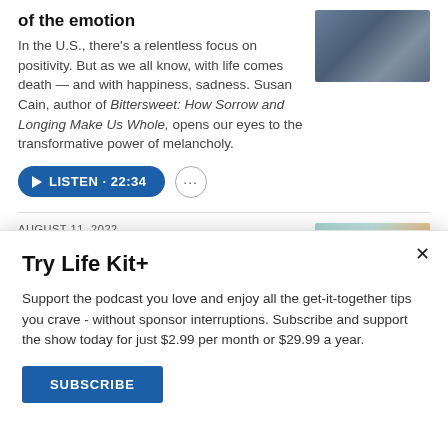of the emotion
In the U.S., there's a relentless focus on positivity. But as we all know, with life comes death — and with happiness, sadness. Susan Cain, author of Bittersweet: How Sorrow and Longing Make Us Whole, opens our eyes to the transformative power of melancholy.
[Figure (photo): Thumbnail photo for podcast article, dark toned image]
LISTEN · 22:34
AUGUST 11, 2022
How to protect yourself
[Figure (photo): Thumbnail photo for second article, light teal and warm tones]
Try Life Kit+
Support the podcast you love and enjoy all the get-it-together tips you crave - without sponsor interruptions. Subscribe and support the show today for just $2.99 per month or $29.99 a year.
SUBSCRIBE